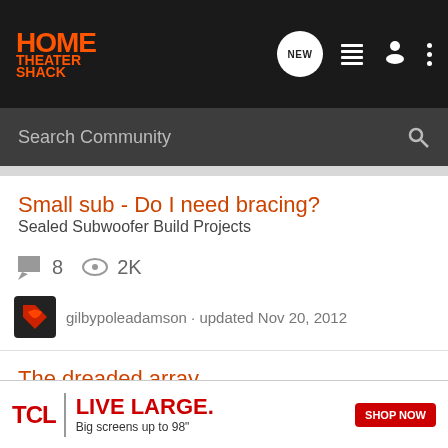HOME THEATER SHACK
Search Community
Small sub - Do I need bracing?
Sealed Subwoofer Build Projects
8 comments  2K views
gilbypoleadamson · updated Nov 20, 2012
The dreaded array
DIY Subwoofers - General Discussion
8 comments  2K views
chadci · updated Oct 7, 2008
[Figure (illustration): TCL advertisement banner: LIVE LARGE. Big screens up to 98" SHOP NOW]